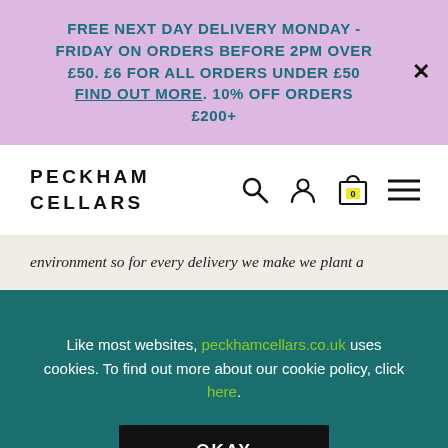FREE NEXT DAY DELIVERY MONDAY - FRIDAY ON ORDERS BEFORE 2PM OVER £50. £6 FOR ALL ORDERS UNDER £50 FIND OUT MORE. 10% OFF ORDERS £200+
[Figure (logo): Peckham Cellars logo text in uppercase bold letters, with navigation icons: search, user, cart (showing 0), and hamburger menu]
environment so for every delivery we make we plant a
Like most websites, peckhamcellars.co.uk uses cookies. To find out more about our cookie policy, click here.
OKAY